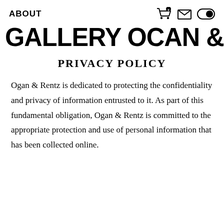ABOUT
GALLERY OCAN & RENTZ
PRIVACY POLICY
Ogan & Rentz is dedicated to protecting the confidentiality and privacy of information entrusted to it. As part of this fundamental obligation, Ogan & Rentz is committed to the appropriate protection and use of personal information that has been collected online.